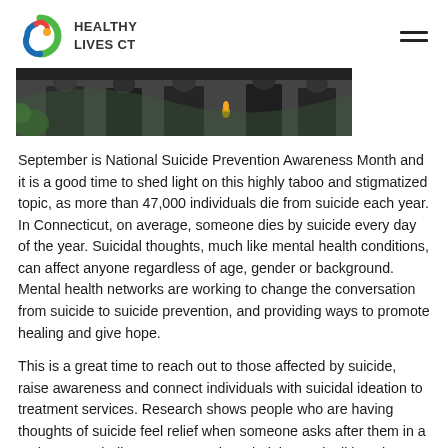HEALTHY LIVES CT
[Figure (photo): Cropped photo of people dressed in dark clothing, appears to be a memorial or awareness event]
September is National Suicide Prevention Awareness Month and it is a good time to shed light on this highly taboo and stigmatized topic, as more than 47,000 individuals die from suicide each year. In Connecticut, on average, someone dies by suicide every day of the year. Suicidal thoughts, much like mental health conditions, can affect anyone regardless of age, gender or background. Mental health networks are working to change the conversation from suicide to suicide prevention, and providing ways to promote healing and give hope.
This is a great time to reach out to those affected by suicide, raise awareness and connect individuals with suicidal ideation to treatment services. Research shows people who are having thoughts of suicide feel relief when someone asks after them in a caring way. Findings suggest acknowledging and talking about suicide may reduce rather than increase suicidal thoughts.